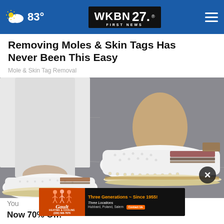83° WKBN 27 FIRST NEWS
Removing Moles & Skin Tags Has Never Been This Easy
Mole & Skin Tag Removal
[Figure (photo): Close-up photo of a person wearing white slip-on sneakers with perforated design, brown/gold trim stripe detail, and white soles, photographed on pavement.]
[Figure (advertisement): Gault Heating & Cooling advertisement banner. Three Generations ~ Since 1955! Three Locations, Hubbard, Poland, Salem. Phone: (330) 568-7076. Contact Us button.]
You
New 70% Off!